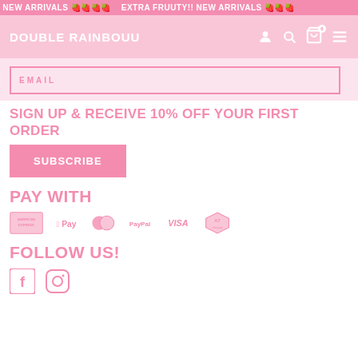NEW ARRIVALS 🍓🍓🍓🍓   EXTRA FRUUTY!! NEW ARRIVALS
[Figure (screenshot): Double Rainbouu website navigation bar with logo, user icon, search icon, cart (0), and hamburger menu on pink background]
EMAIL
SIGN UP & RECEIVE 10% OFF YOUR FIRST ORDER
SUBSCRIBE
PAY WITH
[Figure (infographic): Payment method logos: American Express, Apple Pay, Mastercard, PayPal, Visa, Afterpay — all in pink tones]
FOLLOW US!
[Figure (infographic): Social media icons: Facebook and Instagram in pink]